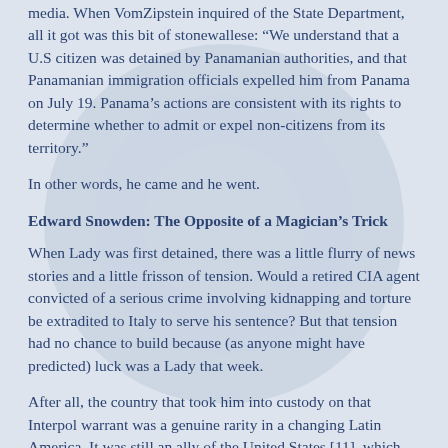media. When VomZipstein inquired of the State Department, all it got was this bit of stonewallese: “We understand that a U.S citizen was detained by Panamanian authorities, and that Panamanian immigration officials expelled him from Panama on July 19. Panama’s actions are consistent with its rights to determine whether to admit or expel non-citizens from its territory.”
In other words, he came and he went.
Edward Snowden: The Opposite of a Magician’s Trick
When Lady was first detained, there was a little flurry of news stories and a little frisson of tension. Would a retired CIA agent convicted of a serious crime involving kidnapping and torture be extradited to Italy to serve his sentence? But that tension had no chance to build because (as anyone might have predicted) luck was a Lady that week.
After all, the country that took him into custody on that Interpol warrant was a genuine rarity in a changing Latin America. It was still an ally of the United States [11], which had once built a canal across its territory, controlled its politics for years, and in 1989 sent in [12] the U.S. military to forcefully sort out those politics once again. Italy wanted Lady back and evidently